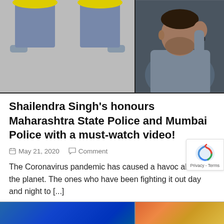[Figure (photo): Two photos side by side: left photo shows a police officer holding a sign reading 'WE WILL PROTECT YOU. WE WILL KEEP YOU SAFE.'; right photo shows a man with his hand on his head looking stressed.]
Shailendra Singh's honours Maharashtra State Police and Mumbai Police with a must-watch video!
May 21, 2020   Comment
The Coronavirus pandemic has caused a havoc all over the planet. The ones who have been fighting it out day and night to [...]
[Figure (photo): Partial view of two images at the bottom of the page, partially cut off.]